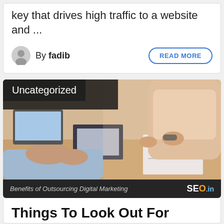key that drives high traffic to a website and ...
By fadib
READ MORE
[Figure (photo): Business meeting scene with two people at a desk with documents, labeled 'Benefits of Outsourcing Digital Marketing' with SEO.in logo]
Uncategorized
Benefits of Outsourcing  Digital Marketing — SEO.in
Things To Look Out For